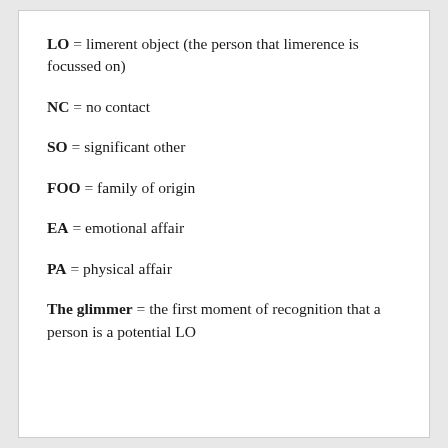LO = limerent object (the person that limerence is focussed on)
NC = no contact
SO = significant other
FOO = family of origin
EA = emotional affair
PA = physical affair
The glimmer = the first moment of recognition that a person is a potential LO